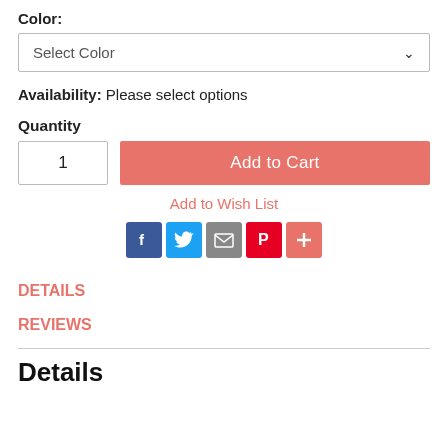Color:
Select Color
Availability: Please select options
Quantity
1
Add to Cart
Add to Wish List
[Figure (other): Social sharing icons row: Facebook (blue), Twitter (light blue), Email (gray), Pinterest (red), More/Plus (salmon/orange)]
DETAILS
REVIEWS
Details